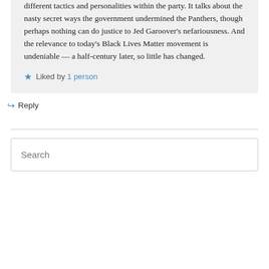different tactics and personalities within the party. It talks about the nasty secret ways the government undermined the Panthers, though perhaps nothing can do justice to Jed Garoover’s nefariousness. And the relevance to today’s Black Lives Matter movement is undeniable — a half-century later, so little has changed.
★ Liked by 1 person
↳ Reply
Search